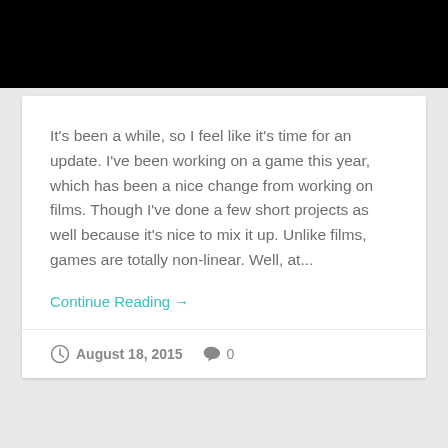[Figure (other): Black navigation bar at the top of the page]
It's been a while, so I feel like it's time for an update. I've been working on a game this year, which has been a nice change from working on films. Though I've done a few short projects as well because it's nice to mix it up. Unlike films, games are totally non-linear. Well, at...
Continue Reading →
August 18, 2015   0